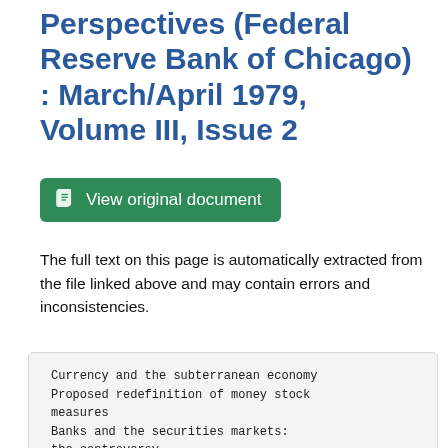Perspectives (Federal Reserve Bank of Chicago) : March/April 1979, Volume III, Issue 2
[Figure (other): Green button labeled 'View original document' with a document icon]
The full text on this page is automatically extracted from the file linked above and may contain errors and inconsistencies.
Currency and the subterranean economy
Proposed redefinition of money stock measures
Banks and the securities markets: the controversy
Holding company affiliation and scale economies in banking